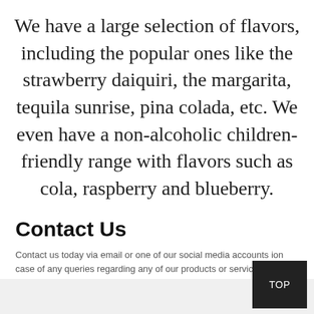We have a large selection of flavors, including the popular ones like the strawberry daiquiri, the margarita, tequila sunrise, pina colada, etc. We even have a non-alcoholic children-friendly range with flavors such as cola, raspberry and blueberry.
Contact Us
Contact us today via email or one of our social media accounts ion case of any queries regarding any of our products or services.